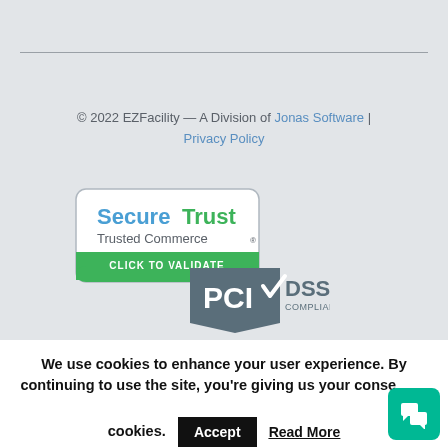© 2022 EZFacility — A Division of Jonas Software | Privacy Policy
[Figure (logo): SecureTrust Trusted Commerce - Click to Validate badge with green background and rounded rectangle border]
[Figure (logo): PCI DSS Compliant badge in grey tones]
We use cookies to enhance your user experience. By continuing to use the site, you're giving us your consent to our use of cookies.
Accept
Read More